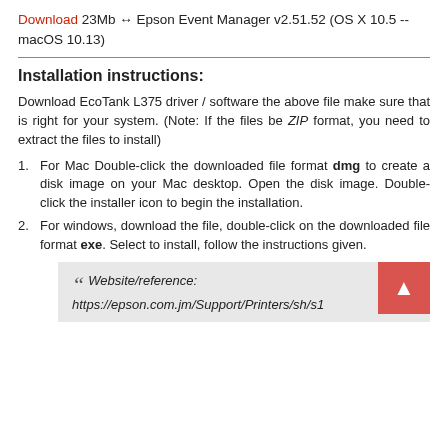Download 23Mb ↔ Epson Event Manager v2.51.52 (OS X 10.5 -- macOS 10.13)
Installation instructions:
Download EcoTank L375 driver / software the above file make sure that is right for your system. (Note: If the files be ZIP format, you need to extract the files to install)
For Mac Double-click the downloaded file format dmg to create a disk image on your Mac desktop. Open the disk image. Double-click the installer icon to begin the installation.
For windows, download the file, double-click on the downloaded file format exe. Select to install, follow the instructions given.
Website/reference: https://epson.com.jm/Support/Printers/sh/s1